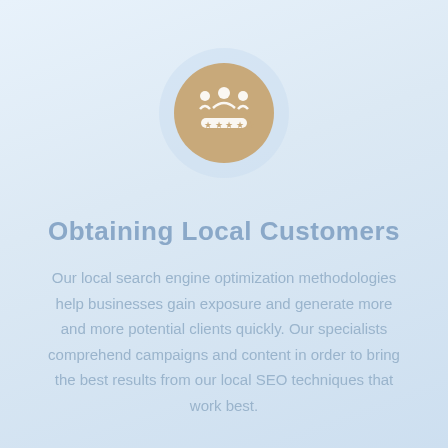[Figure (illustration): A circular icon with a beige/tan background showing a crown with people figures and stars underneath, surrounded by a larger light blue translucent circle.]
Obtaining Local Customers
Our local search engine optimization methodologies help businesses gain exposure and generate more and more potential clients quickly. Our specialists comprehend campaigns and content in order to bring the best results from our local SEO techniques that work best.